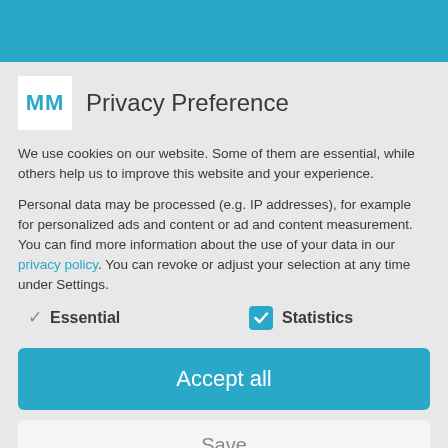[Figure (logo): MM logo in blue letters on white background, next to 'Privacy Preference' heading]
Privacy Preference
We use cookies on our website. Some of them are essential, while others help us to improve this website and your experience.
Personal data may be processed (e.g. IP addresses), for example for personalized ads and content or ad and content measurement. You can find more information about the use of your data in our privacy policy. You can revoke or adjust your selection at any time under Settings.
Essential (unchecked)
Statistics (checked)
Accept all
Save